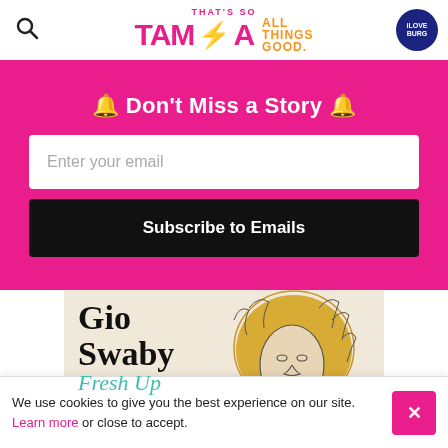That's So Tampa — All Things Good. iLoveBurg logo.
🔔 Don't Miss a Story 🔔
Enter your email
Subscribe to Emails
[Figure (illustration): Gio Swaby Fresh Up — illustrated portrait of a person with curly hair on a beige background]
We use cookies to give you the best experience on our site. Learn more or close to accept.